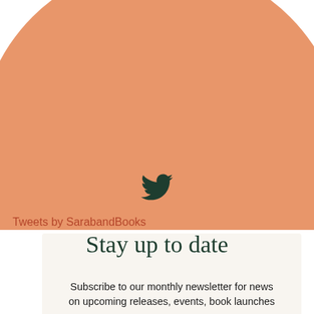[Figure (illustration): Large salmon/peach colored semicircle shape centered in the lower half of the page, serving as decorative background element]
[Figure (logo): Twitter bird icon in dark green color, centered on the page]
Tweets by SarabandBooks
Stay up to date
Subscribe to our monthly newsletter for news on upcoming releases, events, book launches